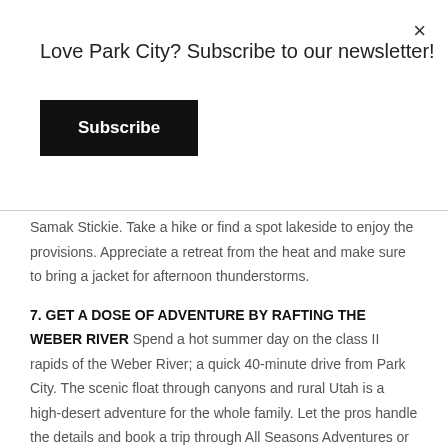Love Park City? Subscribe to our newsletter!
Subscribe
Samak Stickie. Take a hike or find a spot lakeside to enjoy the provisions. Appreciate a retreat from the heat and make sure to bring a jacket for afternoon thunderstorms.
7. GET A DOSE OF ADVENTURE BY RAFTING THE WEBER RIVER
Spend a hot summer day on the class II rapids of the Weber River; a quick 40-minute drive from Park City. The scenic float through canyons and rural Utah is a high-desert adventure for the whole family. Let the pros handle the details and book a trip through All Seasons Adventures or Destination Sports and Adventures.
8. ENJOY AN AFTERNOON BY THE WATER
Lower Deer Valley has several ponds that are accessible to the public. First, enjoy lunch at the nearby Deer Valley Grocery Cafe where